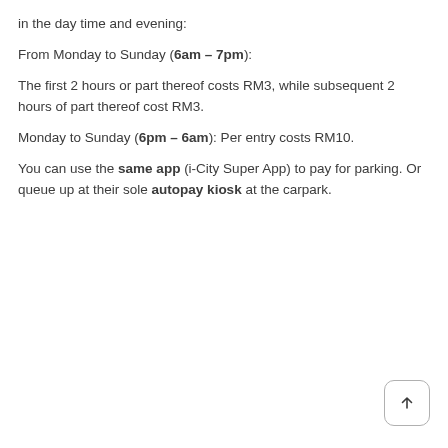in the day time and evening:
From Monday to Sunday (6am – 7pm):
The first 2 hours or part thereof costs RM3, while subsequent 2 hours of part thereof cost RM3.
Monday to Sunday (6pm – 6am): Per entry costs RM10.
You can use the same app (i-City Super App) to pay for parking. Or queue up at their sole autopay kiosk at the carpark.